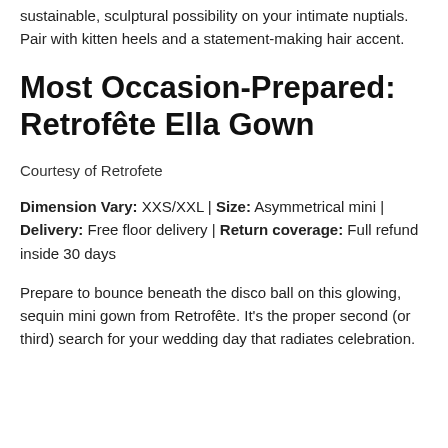sustainable, sculptural possibility on your intimate nuptials. Pair with kitten heels and a statement-making hair accent.
Most Occasion-Prepared: Retrofête Ella Gown
Courtesy of Retrofete
Dimension Vary: XXS/XXL | Size: Asymmetrical mini | Delivery: Free floor delivery | Return coverage: Full refund inside 30 days
Prepare to bounce beneath the disco ball on this glowing, sequin mini gown from Retrofête. It's the proper second (or third) search for your wedding day that radiates celebration.